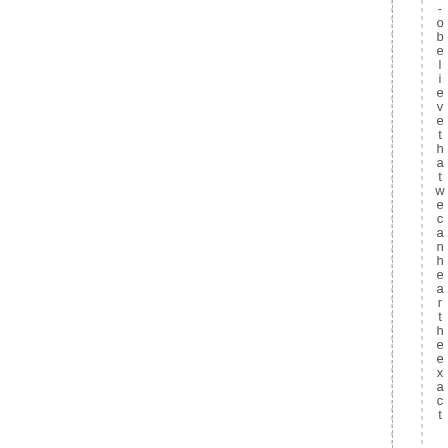-obelieve that we can hear the exact
[Figure (other): Two vertical dashed lines running the full height of the page, positioned at approximately x=440 and x=530 in the original coordinate space.]